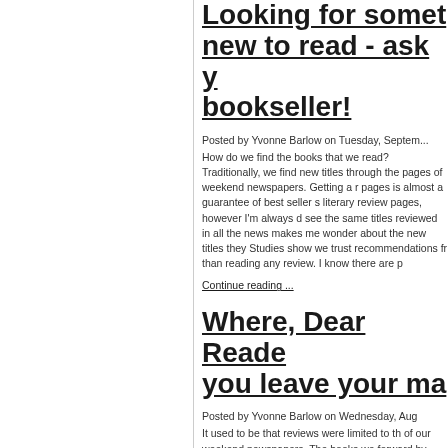Looking for something new to read - ask your bookseller!
Posted by Yvonne Barlow on Tuesday, September... How do we find the books that we read? Traditionally, we find new titles through the pages of weekend newspapers. Getting a review in these pages is almost a guarantee of best seller status. I love literary review pages, however I'm always dismayed to see the same titles reviewed in all the newspapers. It makes me wonder about the new titles they don't cover. Studies show we trust recommendations from friends more than reading any review. I know there are p...
Continue reading ...
Where, Dear Reader, do you leave your ma...
Posted by Yvonne Barlow on Wednesday, Aug... It used to be that reviews were limited to the pages of our weekend newspapers. The books were put forward by publicists, and the reviews were written by editor-appointed experts. Then came Amazon!